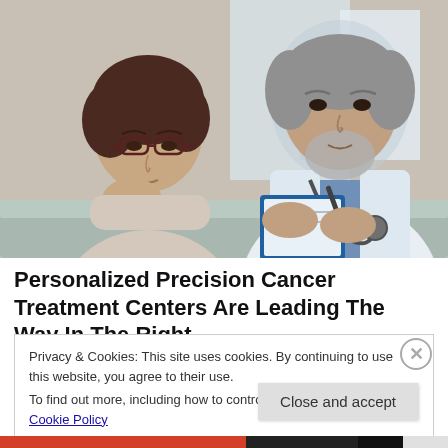[Figure (photo): A middle-aged woman with glasses resting her chin on her hand listening to an older male doctor in a white coat with a stethoscope who is holding a clipboard and pen, seated at a table in a medical consultation setting.]
Personalized Precision Cancer Treatment Centers Are Leading The Way In The Right...
Privacy & Cookies: This site uses cookies. By continuing to use this website, you agree to their use.
To find out more, including how to control cookies, see here: Cookie Policy
Close and accept